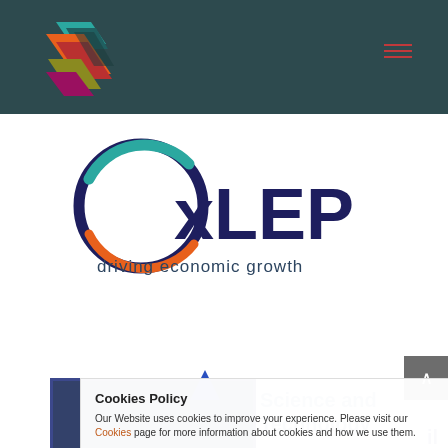[Figure (logo): Stylized arrow/chevron logo made of colored shapes (orange, red, dark teal, yellow-green, magenta) on dark teal background - header navigation logo]
[Figure (logo): OxLEP logo with circular swoosh in teal, orange, and dark purple/navy, with text 'OxLEP' in large dark navy letters and 'driving economic growth' below]
[Figure (other): Partially visible card/box with dark navy background, blue triangle arrow, and text 'Science and Technology' and 'Council' visible]
Cookies Policy
Our Website uses cookies to improve your experience. Please visit our Cookies page for more information about cookies and how we use them.